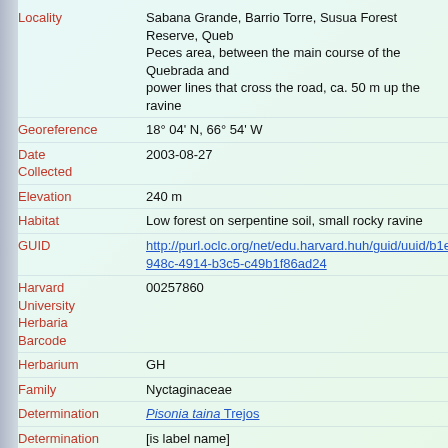| Field | Value |
| --- | --- |
| Locality | Sabana Grande, Barrio Torre, Susua Forest Reserve, Quebrada Peces area, between the main course of the Quebrada and power lines that cross the road, ca. 50 m up the ravine |
| Georeference | 18° 04' N, 66° 54' W |
| Date Collected | 2003-08-27 |
| Elevation | 240 m |
| Habitat | Low forest on serpentine soil, small rocky ravine |
| GUID | http://purl.oclc.org/net/edu.harvard.huh/guid/uuid/b1e948c-4914-b3c5-c49b1f86ad24 |
| Harvard University Herbaria Barcode | 00257860 |
| Herbarium | GH |
| Family | Nyctaginaceae |
| Determination | Pisonia taina Trejos |
| Determination Remarks | [is label name] |
| Family | Nyctaginaceae |
| Type Status | Holotype |
| Holotype of | Pisonia taina Trejos |